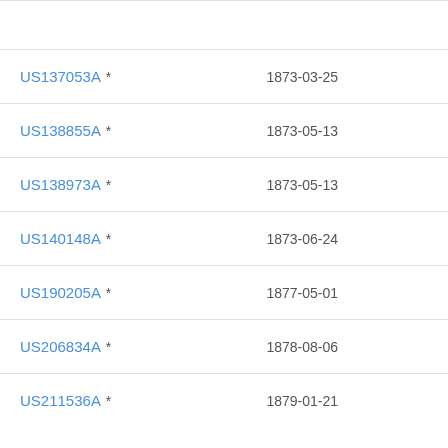| Patent | Date |
| --- | --- |
| US137053A * | 1873-03-25 |
| US138855A * | 1873-05-13 |
| US138973A * | 1873-05-13 |
| US140148A * | 1873-06-24 |
| US190205A * | 1877-05-01 |
| US206834A * | 1878-08-06 |
| US211536A * | 1879-01-21 |